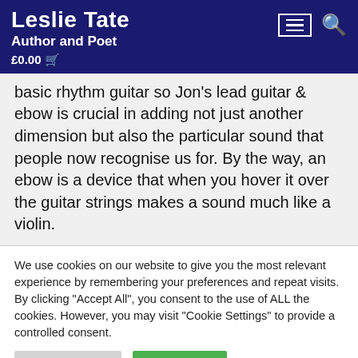Leslie Tate Author and Poet £0.00
basic rhythm guitar so Jon's lead guitar & ebow is crucial in adding not just another dimension but also the particular sound that people now recognise us for. By the way, an ebow is a device that when you hover it over the guitar strings makes a sound much like a violin.
We use cookies on our website to give you the most relevant experience by remembering your preferences and repeat visits. By clicking "Accept All", you consent to the use of ALL the cookies. However, you may visit "Cookie Settings" to provide a controlled consent.